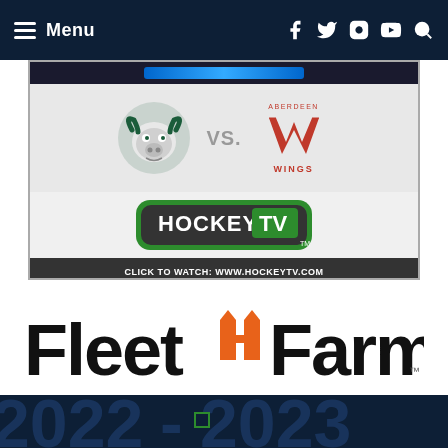Menu
[Figure (screenshot): HockeyTV banner showing a team logo (bull) vs Aberdeen Wings logo, with HockeyTV logo and 'CLICK TO WATCH: WWW.HOCKEYTV.COM']
[Figure (logo): Fleet Farm logo with orange arrow/fork symbol]
[Figure (screenshot): 2022-2023 season banner with large watermark numbers on dark navy background]